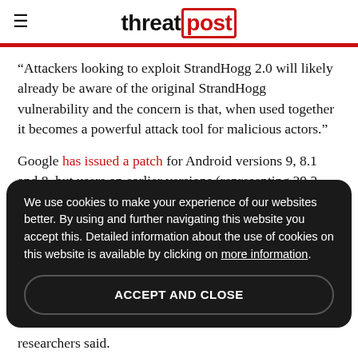threatpost
“Attackers looking to exploit StrandHogg 2.0 will likely already be aware of the original StrandHogg vulnerability and the concern is that, when used together it becomes a powerful attack tool for malicious actors.”
Google has issued a patch for Android versions 9, 8.1 and 8, but users on earlier versions (representing 39.2 percent of Android devices, researchers said) will remain vulnerable. StrandHogg 2.0 exploits do not impact devices running Android 10, so users should update their
We use cookies to make your experience of our websites better. By using and further navigating this website you accept this. Detailed information about the use of cookies on this website is available by clicking on more information.
ACCEPT AND CLOSE
researchers said.